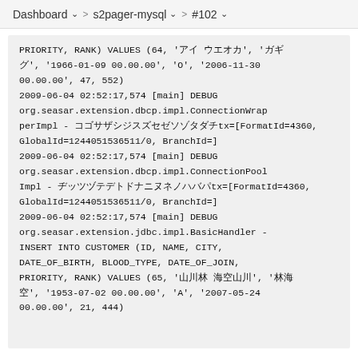Dashboard > s2pager-mysql > #102
PRIORITY, RANK) VALUES (64, '□□ □□□□', '□□□', '1966-01-09 00.00.00', 'O', '2006-11-30 00.00.00', 47, 552)
2009-06-04 02:52:17,574 [main] DEBUG org.seasar.extension.dbcp.impl.ConnectionWrapperImpl - □□□□□□□□□□□□□□□□tx=[FormatId=4360, GlobalId=1244051536511/0, BranchId=]
2009-06-04 02:52:17,574 [main] DEBUG org.seasar.extension.dbcp.impl.ConnectionPoolImpl - □□□□□□□□□□□□□□□□tx=[FormatId=4360, GlobalId=1244051536511/0, BranchId=]
2009-06-04 02:52:17,574 [main] DEBUG org.seasar.extension.jdbc.impl.BasicHandler - INSERT INTO CUSTOMER (ID, NAME, CITY, DATE_OF_BIRTH, BLOOD_TYPE, DATE_OF_JOIN, PRIORITY, RANK) VALUES (65, '□□□ □□□□', '□□□', '1953-07-02 00.00.00', 'A', '2007-05-24 00.00.00', 21, 444)